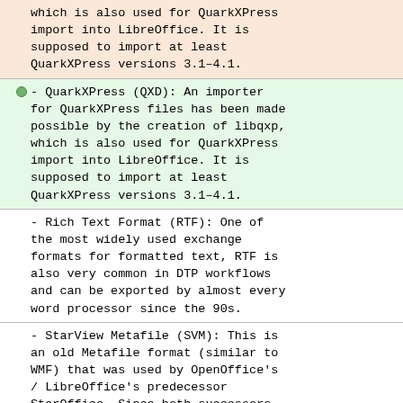- QuarkXPress (QXD): An importer for QuarkXPress files has been made possible by the creation of libqxp, which is also used for QuarkXPress import into LibreOffice. It is supposed to import at least QuarkXPress versions 3.1–4.1.
- QuarkXPress (QXD): An importer for QuarkXPress files has been made possible by the creation of libqxp, which is also used for QuarkXPress import into LibreOffice. It is supposed to import at least QuarkXPress versions 3.1–4.1.
- Rich Text Format (RTF): One of the most widely used exchange formats for formatted text, RTF is also very common in DTP workflows and can be exported by almost every word processor since the 90s.
- StarView Metafile (SVM): This is an old Metafile format (similar to WMF) that was used by OpenOffice's / LibreOffice's predecessor StarOffice. Since both successors still use SVM in - OpenDocument Graphics, the SVM import filter was a by-product of the new ODG filter.
- UniConvertor Plug-in: As with the GraphicsMagick plug-in, Scribus